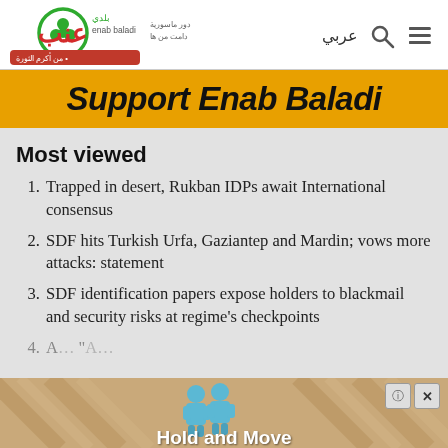Enab Baladi - header with logo and navigation (عربي)
Support Enab Baladi
Most viewed
Trapped in desert, Rukban IDPs await International consensus
SDF hits Turkish Urfa, Gaziantep and Mardin; vows more attacks: statement
SDF identification papers expose holders to blackmail and security risks at regime's checkpoints
A… "A…
[Figure (other): Advertisement overlay showing 'Hold and Move' banner with cartoon figures and close/help buttons]